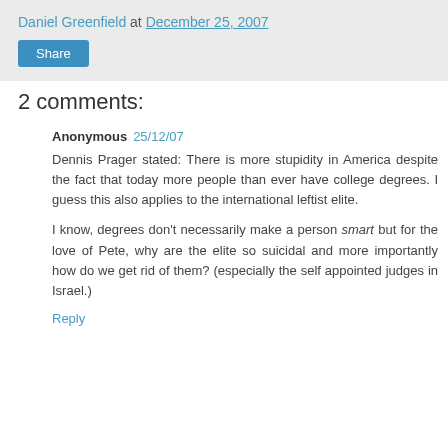Daniel Greenfield at December 25, 2007
Share
2 comments:
Anonymous 25/12/07
Dennis Prager stated: There is more stupidity in America despite the fact that today more people than ever have college degrees. I guess this also applies to the international leftist elite.
I know, degrees don't necessarily make a person smart but for the love of Pete, why are the elite so suicidal and more importantly how do we get rid of them? (especially the self appointed judges in Israel.)
Reply